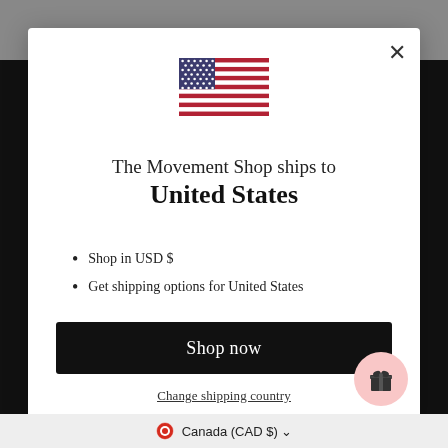[Figure (illustration): US flag SVG illustration]
The Movement Shop ships to United States
Shop in USD $
Get shipping options for United States
Shop now
Change shipping country
[Figure (illustration): Gift icon in pink circle bubble]
Canada (CAD $)